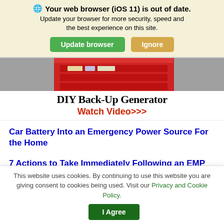🌐 Your web browser (iOS 11) is out of date. Update your browser for more security, speed and the best experience on this site.
Update browser | Ignore
[Figure (photo): Partial view of a red DIY back-up generator device with items stored inside]
DIY Back-Up Generator Watch Video>>>
Car Battery Into an Emergency Power Source For the Home
7 Actions to Take Immediately Following an EMP Strike (Video)
This website uses cookies. By continuing to use this website you are giving consent to cookies being used. Visit our Privacy and Cookie Policy.
I Agree